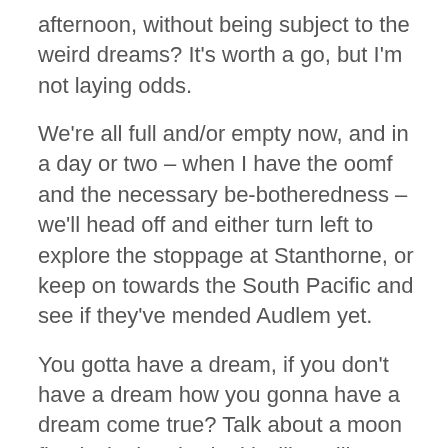afternoon, without being subject to the weird dreams? It's worth a go, but I'm not laying odds.
We're all full and/or empty now, and in a day or two – when I have the oomf and the necessary be-botheredness – we'll head off and either turn left to explore the stoppage at Stanthorne, or keep on towards the South Pacific and see if they've mended Audlem yet.
You gotta have a dream, if you don't have a dream how you gonna have a dream come true? Talk about a moon floatin' in the sky, lookin' like a lily on a lake. Talk about a bird learnin' how to fly, makin' all the music he can make. Happy happy talk keep talkin' happy talk… damn, we're back to nightmare dreams again. Who mentioned the South Pacific?